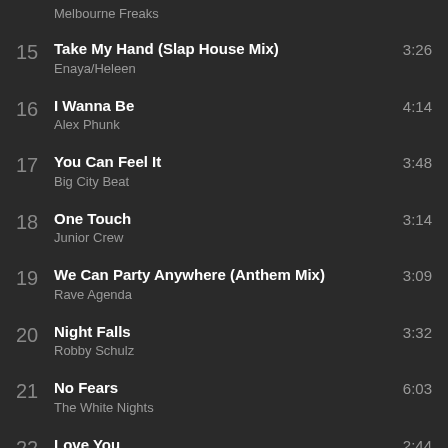Melbourne Freaks
15 Take My Hand (Slap House Mix) — Enaya/Heleen — 3:26
16 I Wanna Be — Alex Phunk — 4:14
17 You Can Feel It — Big City Beat — 3:48
18 One Touch — Junior Crew — 3:14
19 We Can Party Anywhere (Anthem Mix) — Rave Agenda — 3:09
20 Night Falls — Robby Schulz — 3:32
21 No Fears — The White Nights — 6:03
22 Love You — 2:44